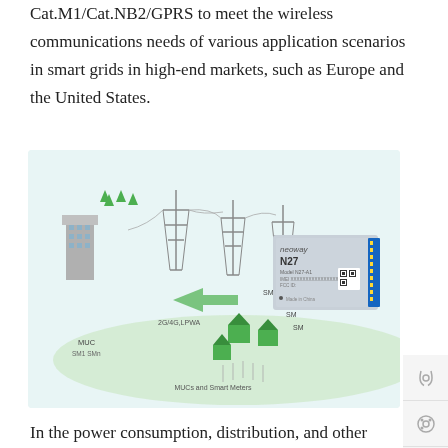Cat.M1/Cat.NB2/GPRS to meet the wireless communications needs of various application scenarios in smart grids in high-end markets, such as Europe and the United States.
[Figure (infographic): Diagram showing a smart grid communication network with buildings, transmission towers, smart meters (SM), MUC (Meter Unit Controller), 2G/4G/LPWA connectivity, and a Neoway N27 module with FCC ID label.]
In the power consumption, distribution, and other